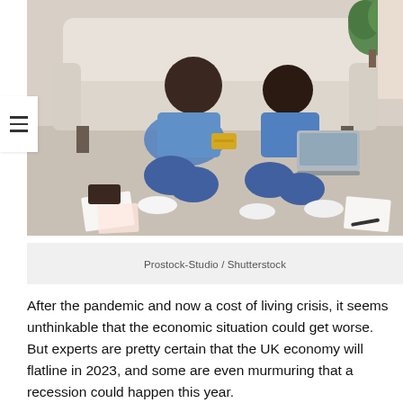[Figure (photo): A couple sitting on the floor in front of a sofa, using a laptop and holding a credit card, with papers scattered around them. Appears to be online shopping or financial planning.]
Prostock-Studio / Shutterstock
After the pandemic and now a cost of living crisis, it seems unthinkable that the economic situation could get worse. But experts are pretty certain that the UK economy will flatline in 2023, and some are even murmuring that a recession could happen this year.